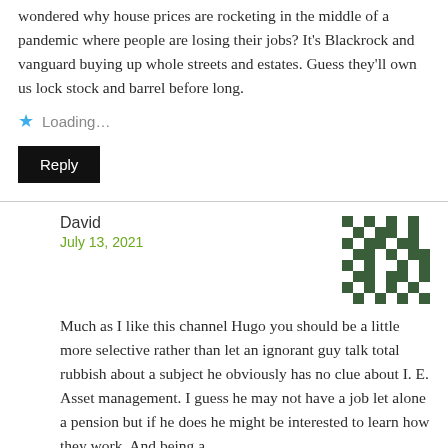wondered why house prices are rocketing in the middle of a pandemic where people are losing their jobs? It's Blackrock and vanguard buying up whole streets and estates. Guess they'll own us lock stock and barrel before long.
★ Loading...
Reply
David
July 13, 2021
[Figure (illustration): Pixelated avatar image in dark green and white geometric/checkerboard pattern]
Much as I like this channel Hugo you should be a little more selective rather than let an ignorant guy talk total rubbish about a subject he obviously has no clue about I. E. Asset management. I guess he may not have a job let alone a pension but if he does he might be interested to learn how they work. And being a